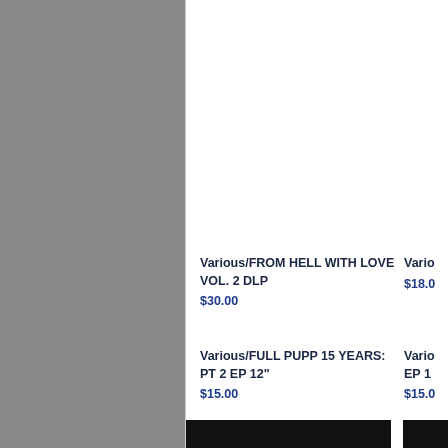Various/FROM HELL WITH LOVE VOL. 2 DLP
$30.00
Vario...
$18.0...
Various/FULL PUPP 15 YEARS: PT 2 EP 12"
$15.00
Vario... EP 1
$15.0...